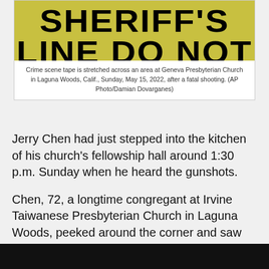[Figure (photo): Yellow Sheriff crime scene tape with text, stretched across an area. The tape reads partially visible 'SHERIFF'S' in large black letters.]
Crime scene tape is stretched across an area at Geneva Presbyterian Church in Laguna Woods, Calif., Sunday, May 15, 2022, after a fatal shooting. (AP Photo/Damian Dovarganes)
Jerry Chen had just stepped into the kitchen of his church's fellowship hall around 1:30 p.m. Sunday when he heard the gunshots.
Chen, 72, a longtime congregant at Irvine Taiwanese Presbyterian Church in Laguna Woods, peeked around the corner and saw church members screaming, running and ducking under tables.
“I knew someone was shooting,” he said. “I was very, very scared. I ran out the kitchen door to call 9-1-1.”